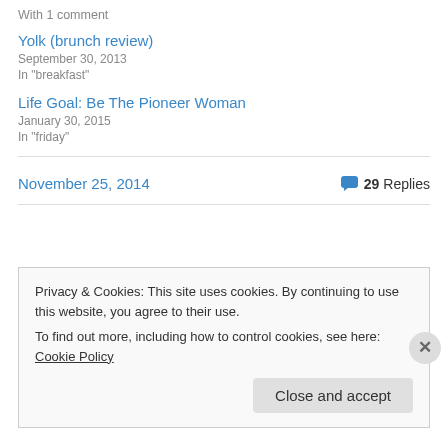With 1 comment
Yolk (brunch review)
September 30, 2013
In "breakfast"
Life Goal: Be The Pioneer Woman
January 30, 2015
In "friday"
November 25, 2014
29 Replies
Privacy & Cookies: This site uses cookies. By continuing to use this website, you agree to their use.
To find out more, including how to control cookies, see here: Cookie Policy
Close and accept